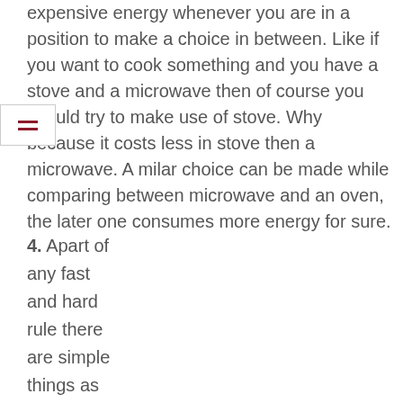expensive energy whenever you are in a position to make a choice in between. Like if you want to cook something and you have a stove and a microwave then of course you should try to make use of stove. Why because it costs less in stove then a microwave. A milar choice can be made while comparing between microwave and an oven, the later one consumes more energy for sure.
4. Apart of any fast and hard rule there are simple things as well which can really help you out in saving th...